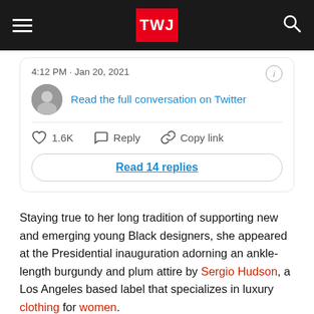TWJ
4:12 PM · Jan 20, 2021
Read the full conversation on Twitter
1.6K  Reply  Copy link
Read 14 replies
Staying true to her long tradition of supporting new and emerging young Black designers, she appeared at the Presidential inauguration adorning an ankle-length burgundy and plum attire by Sergio Hudson, a Los Angeles based label that specializes in luxury clothing for women.
The ensemble comprised of a turtleneck sweater top paired with boot cut wide-legged pants and a structured coat. She looked beautiful with minimal makeup and her voluminous curls